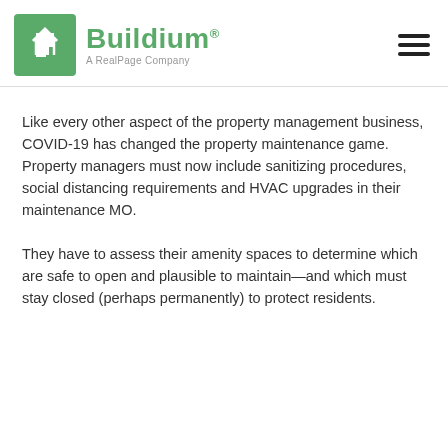Buildium® A RealPage Company
Like every other aspect of the property management business, COVID-19 has changed the property maintenance game. Property managers must now include sanitizing procedures, social distancing requirements and HVAC upgrades in their maintenance MO.
They have to assess their amenity spaces to determine which are safe to open and plausible to maintain—and which must stay closed (perhaps permanently) to protect residents.